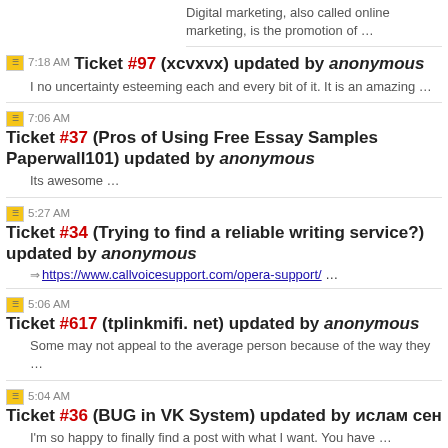Digital marketing, also called online marketing, is the promotion of …
7:18 AM Ticket #97 (xcvxvx) updated by anonymous
I no uncertainty esteeming each and every bit of it. It is an amazing …
7:06 AM Ticket #37 (Pros of Using Free Essay Samples Paperwall101) updated by anonymous
Its awesome …
5:27 AM Ticket #34 (Trying to find a reliable writing service?) updated by anonymous
https://www.callvoicesupport.com/opera-support/ …
5:06 AM Ticket #617 (tplinkmifi. net) updated by anonymous
Some may not appeal to the average person because of the way they …
5:04 AM Ticket #36 (BUG in VK System) updated by ислам сен
I'm so happy to finally find a post with what I want. You have …